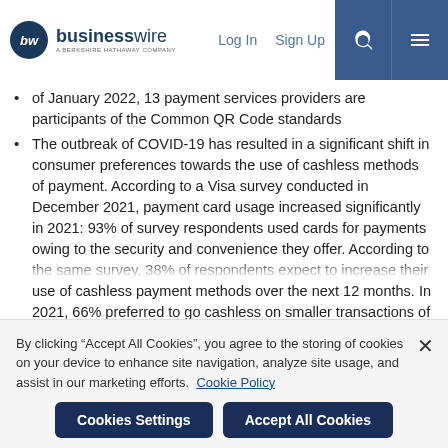businesswire — A BERKSHIRE HATHAWAY COMPANY | Log In | Sign Up
of January 2022, 13 payment services providers are participants of the Common QR Code standards
The outbreak of COVID-19 has resulted in a significant shift in consumer preferences towards the use of cashless methods of payment. According to a Visa survey conducted in December 2021, payment card usage increased significantly in 2021: 93% of survey respondents used cards for payments owing to the security and convenience they offer. According to the same survey, 38% of respondents expect to increase their use of cashless payment methods over the next 12 months. In 2021, 66% preferred to go cashless on smaller transactions of up to
By clicking “Accept All Cookies”, you agree to the storing of cookies on your device to enhance site navigation, analyze site usage, and assist in our marketing efforts.  Cookie Policy
Cookies Settings | Accept All Cookies